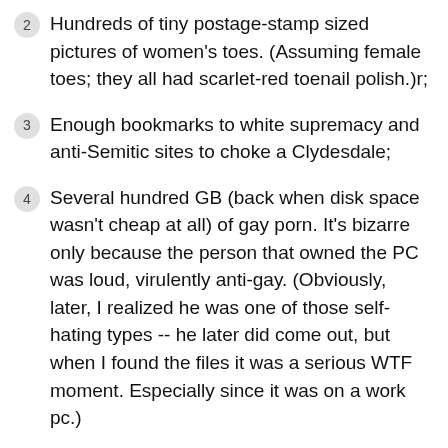2  Hundreds of tiny postage-stamp sized pictures of women's toes. (Assuming female toes; they all had scarlet-red toenail polish.)r;
3  Enough bookmarks to white supremacy and anti-Semitic sites to choke a Clydesdale;
4  Several hundred GB (back when disk space wasn't cheap at all) of gay porn. It's bizarre only because the person that owned the PC was loud, virulently anti-gay. (Obviously, later, I realized he was one of those self-hating types -- he later did come out, but when I found the files it was a serious WTF moment. Especially since it was on a work pc.)